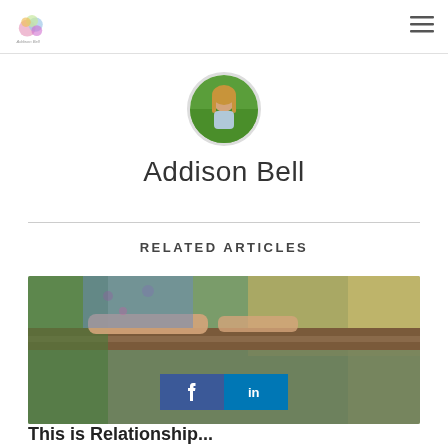Addison Bell blog — navigation bar with logo and hamburger menu
[Figure (photo): Circular author avatar photo of Addison Bell, a young woman with long blonde hair outdoors in a green field]
Addison Bell
RELATED ARTICLES
[Figure (photo): Article thumbnail image showing a woman with arms on a wooden railing, nature/outdoor background, with Facebook and LinkedIn share buttons overlaid]
This is Relationship...